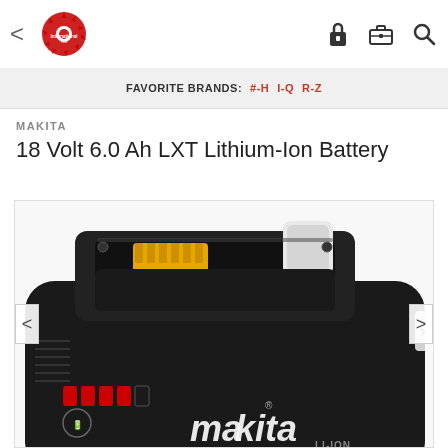[Figure (logo): International Tool logo - red circular saw blade with company name]
FAVORITE BRANDS:  #-H   I-Q   R-Z
MAKITA
18 Volt 6.0 Ah LXT Lithium-Ion Battery
[Figure (photo): Makita 18 Volt 6.0 Ah LXT Lithium-Ion Battery - black battery pack viewed from above, showing yellow connector terminals, white locking tab, red charge indicator LEDs, and Makita branding]